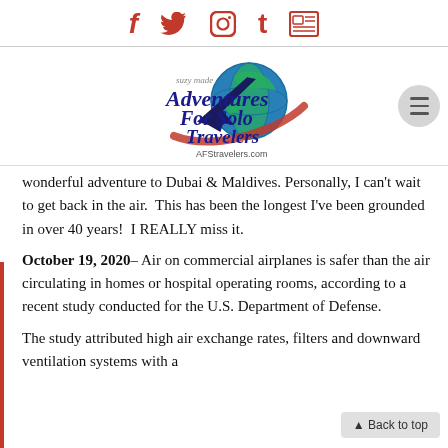Social media icons: Facebook, Twitter, Instagram, Tumblr, Newsletter
[Figure (logo): Adventures For Solo Travelers logo with globe, airplane, and script text. URL: AFStravelers.com]
wonderful adventure to Dubai & Maldives. Personally, I can't wait to get back in the air. This has been the longest I've been grounded in over 40 years! I REALLY miss it.
October 19, 2020– Air on commercial airplanes is safer than the air circulating in homes or hospital operating rooms, according to a recent study conducted for the U.S. Department of Defense.
The study attributed high air exchange rates, filters and downward ventilation systems with a